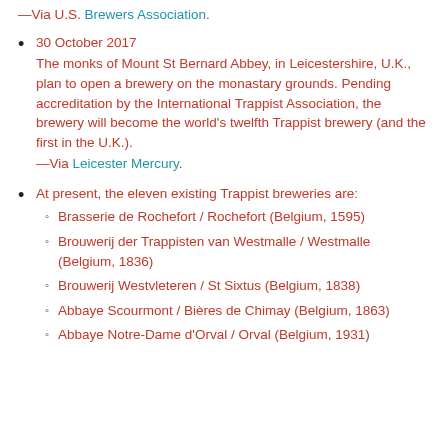—Via U.S. Brewers Association.
30 October 2017
The monks of Mount St Bernard Abbey, in Leicestershire, U.K., plan to open a brewery on the monastary grounds. Pending accreditation by the International Trappist Association, the brewery will become the world's twelfth Trappist brewery (and the first in the U.K.).
—Via Leicester Mercury.
At present, the eleven existing Trappist breweries are:
Brasserie de Rochefort / Rochefort (Belgium, 1595)
Brouwerij der Trappisten van Westmalle / Westmalle (Belgium, 1836)
Brouwerij Westvleteren / St Sixtus (Belgium, 1838)
Abbaye Scourmont / Bières de Chimay (Belgium, 1863)
Abbaye Notre-Dame d'Orval / Orval (Belgium, 1931)